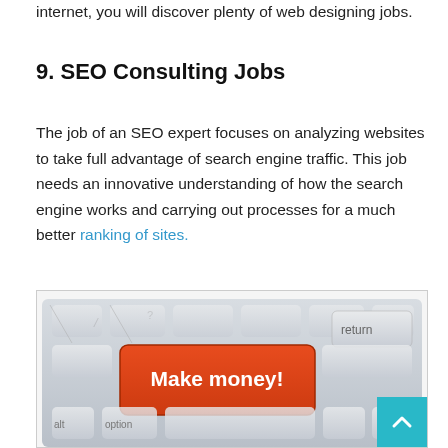internet, you will discover plenty of web designing jobs.
9. SEO Consulting Jobs
The job of an SEO expert focuses on analyzing websites to take full advantage of search engine traffic. This job needs an innovative understanding of how the search engine works and carrying out processes for a much better ranking of sites.
[Figure (photo): A keyboard with a large red key labeled 'Make money!' in white text, with other white/grey keys including 'return', 'alt', and 'option' visible.]